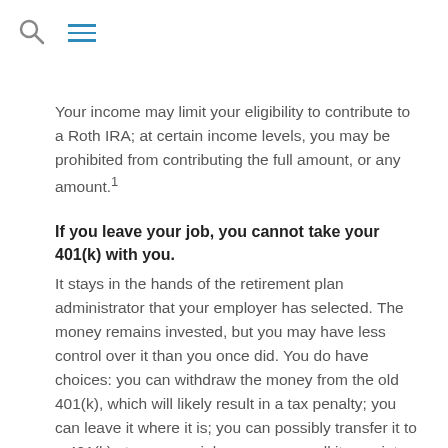[search icon] [menu icon]
Your income may limit your eligibility to contribute to a Roth IRA; at certain income levels, you may be prohibited from contributing the full amount, or any amount.1
If you leave your job, you cannot take your 401(k) with you.
It stays in the hands of the retirement plan administrator that your employer has selected. The money remains invested, but you may have less control over it than you once did. You do have choices: you can withdraw the money from the old 401(k), which will likely result in a tax penalty; you can leave it where it is; you can possibly transfer it to a 401(k) at your new job; or, you can roll it over into an IRA.4,5